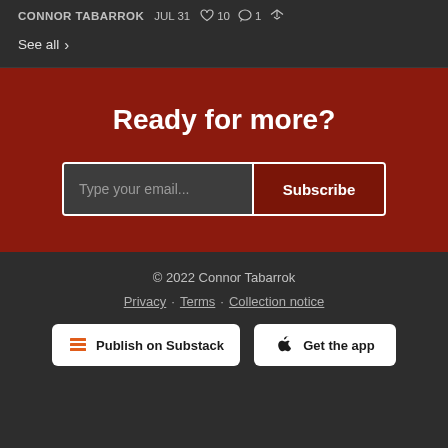CONNOR TABARROK  JUL 31  ♡ 10  💬 1
See all ›
Ready for more?
Type your email...   Subscribe
© 2022 Connor Tabarrok
Privacy · Terms · Collection notice
Publish on Substack   Get the app